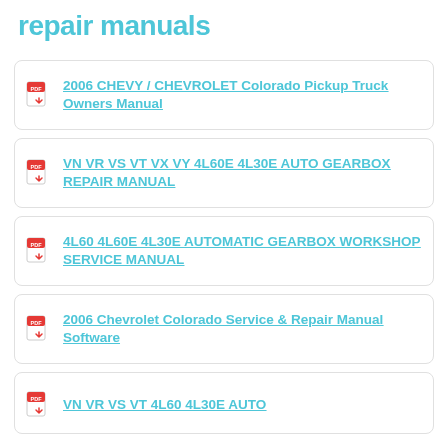repair manuals
2006 CHEVY / CHEVROLET Colorado Pickup Truck Owners Manual
VN VR VS VT VX VY 4L60E 4L30E AUTO GEARBOX REPAIR MANUAL
4L60 4L60E 4L30E AUTOMATIC GEARBOX WORKSHOP SERVICE MANUAL
2006 Chevrolet Colorado Service & Repair Manual Software
VN VR VS VT 4L60 4L30E AUTO ...